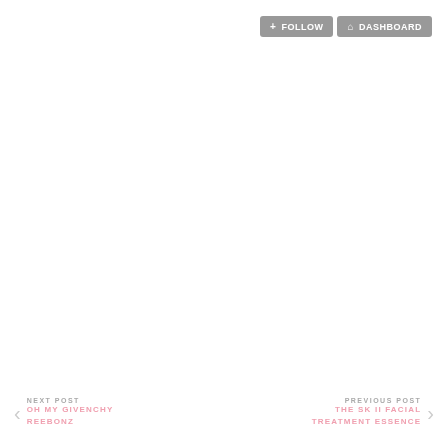[Figure (screenshot): Two navigation buttons: a grey Follow button with a plus icon and a grey Dashboard button with a house icon, positioned in the top-right corner of the page.]
< NEXT POST | OH MY GIVENCHY REEBONZ | PREVIOUS POST | THE SK II FACIAL TREATMENT ESSENCE >